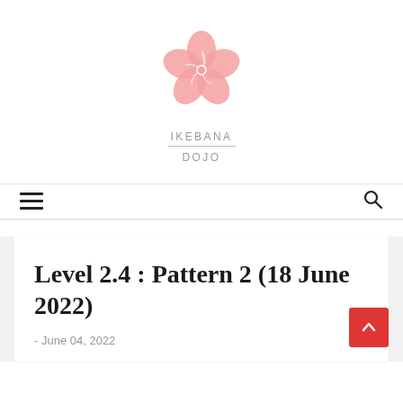[Figure (logo): Ikebana Dojo pink flower logo — five overlapping pink petals in a circular arrangement with swirl lines]
IKEBANA
DOJO
[Figure (other): Navigation bar with hamburger menu icon on the left and search icon on the right]
Level 2.4 : Pattern 2 (18 June 2022)
- June 04, 2022